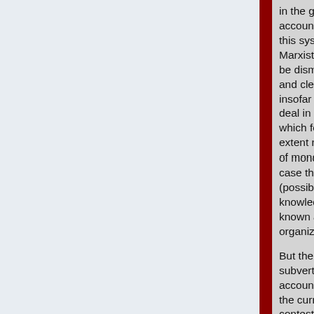in the general failure of honest accounting which is at the core of this system. In principle, the Marxists complaints could and can be dismissed where there is open and clear accounting, at least insofar as a narrow focus on the deal in production is concerned, which for that matter are to some extent required at least at the level of monopoly/big Capital. In that case the Capitalist is simply a (possibly vincibly corrupt) knowledge Worker and charges a known amount for her factor of organizing production.
But the entire system is based on subverting such openness in accounting which is why I wanted the current POTUS to be in a contest with Sanders, although the latter is a poor anti